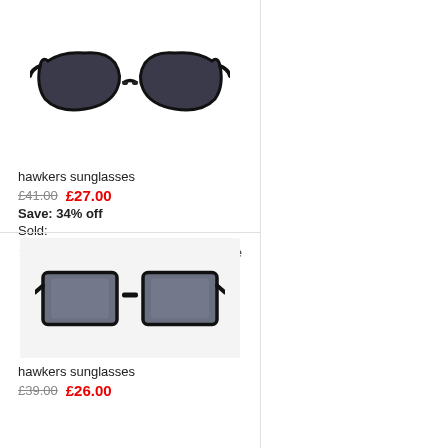[Figure (photo): Hawkers black wayfarer-style sunglasses on white background]
hawkers sunglasses
£41.00  £27.00
Save: 34% off
Sold:
★★★★☆ (970)  ♥like
[Figure (photo): Hawkers black square-frame sunglasses on light grey background]
hawkers sunglasses
£39.00  £26.00